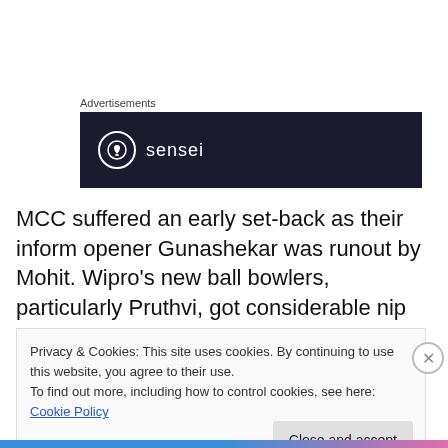Advertisements
[Figure (logo): Sensei logo on dark navy background — circle with tree icon and the word 'sensei' in white]
MCC suffered an early set-back as their inform opener Gunashekar was runout by Mohit. Wipro's new ball bowlers, particularly Pruthvi, got considerable nip off the wicket troubling all MCC top-order batsmen.
Privacy & Cookies: This site uses cookies. By continuing to use this website, you agree to their use.
To find out more, including how to control cookies, see here: Cookie Policy
Close and accept